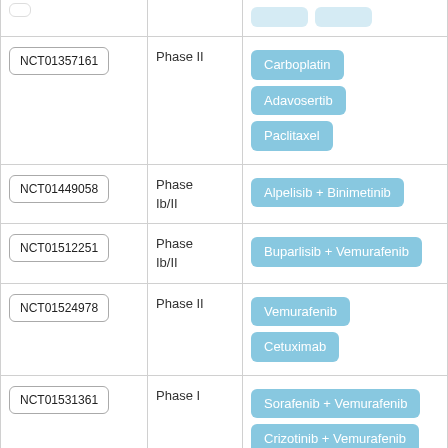| Trial ID | Phase | Drugs |
| --- | --- | --- |
| NCT01357161 | Phase II | Carboplatin | Adavosertib | Paclitaxel |
| NCT01449058 | Phase Ib/II | Alpelisib + Binimetinib |
| NCT01512251 | Phase Ib/II | Buparlisib + Vemurafenib |
| NCT01524978 | Phase II | Vemurafenib | Cetuximab |
| NCT01531361 | Phase I | Sorafenib + Vemurafenib | Crizotinib + Vemurafenib |